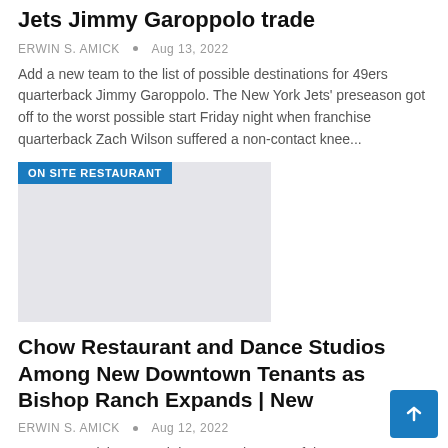Jets Jimmy Garoppolo trade
ERWIN S. AMICK • Aug 13, 2022
Add a new team to the list of possible destinations for 49ers quarterback Jimmy Garoppolo. The New York Jets' preseason got off to the worst possible start Friday night when franchise quarterback Zach Wilson suffered a non-contact knee...
[Figure (photo): Gray placeholder image with 'ON SITE RESTAURANT' badge in blue at top-left]
Chow Restaurant and Dance Studios Among New Downtown Tenants as Bishop Ranch Expands | New
ERWIN S. AMICK • Aug 12, 2022
Downtown Bishop Ranch has seen the start of three new businesses in recent months, and many new shoppers and restaurants, as increas numbers of workers have returned to surrounding offices in downto San Ramon"As companies welcome